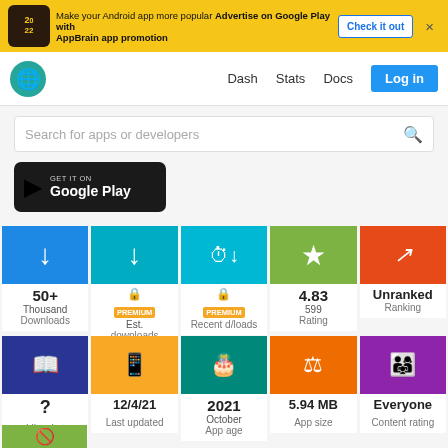[Figure (screenshot): AppBrain ad banner with yellow background showing 'Make your Android app more popular - Advertise on Google Play with AppBrain app promotion' with Check it out button]
[Figure (screenshot): Navigation bar with globe logo, Dash, Stats, Docs links and Log in button]
[Figure (screenshot): Search bar: Search for apps or developers]
[Figure (screenshot): Get it on Google Play button]
[Figure (infographic): App stats grid row 1: 50+ Thousand Downloads, Est. downloads (PREMIUM), Recent d/loads (PREMIUM), 4.83 Rating (599), Unranked Ranking]
[Figure (infographic): App stats grid row 2: Libraries (?), 12/4/21 Last updated, 2021 October App age, 5.94 MB App size, Everyone Content rating]